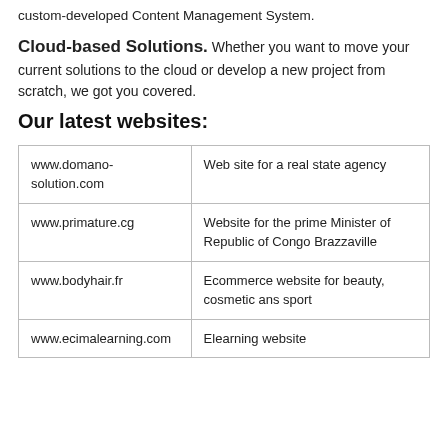custom-developed Content Management System.
Cloud-based Solutions. Whether you want to move your current solutions to the cloud or develop a new project from scratch, we got you covered.
Our latest websites:
| www.domano-solution.com | Web site for a real state agency |
| www.primature.cg | Website for the prime Minister of Republic of Congo Brazzaville |
| www.bodyhair.fr | Ecommerce website for beauty, cosmetic ans sport |
| www.ecimalearning.com | Elearning website |